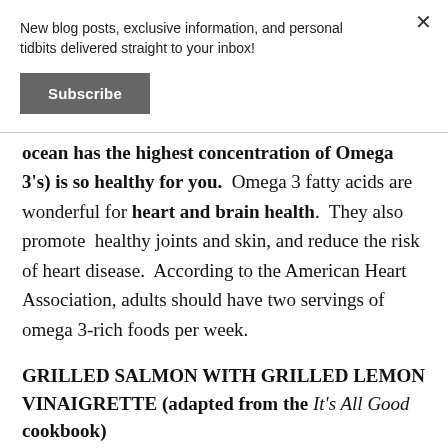New blog posts, exclusive information, and personal tidbits delivered straight to your inbox!
Subscribe
ocean has the highest concentration of Omega 3's) is so healthy for you.  Omega 3 fatty acids are wonderful for heart and brain health.  They also promote  healthy joints and skin, and reduce the risk of heart disease.  According to the American Heart Association, adults should have two servings of omega 3-rich foods per week.
GRILLED SALMON WITH GRILLED LEMON VINAIGRETTE (adapted from the It's All Good cookbook)